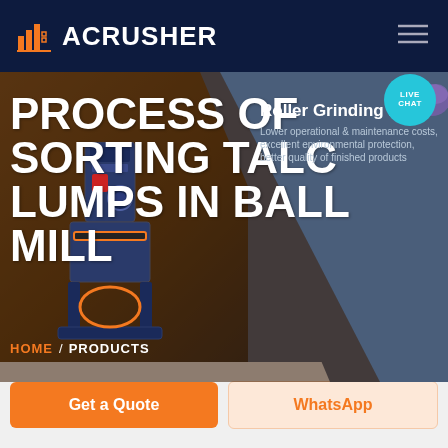ACRUSHER
PROCESS OF SORTING TALC LUMPS IN BALL MILL
[Figure (screenshot): Hero banner with industrial grinding mill image, dark navy and brown background with diagonal split. Includes product overlay text 'Roller Grinding Mill' and description 'Lower operational & maintenance costs, excellent environmental protection, better quality of finished products'. Live Chat bubble in teal in upper right.]
HOME / PRODUCTS
Get a Quote
WhatsApp